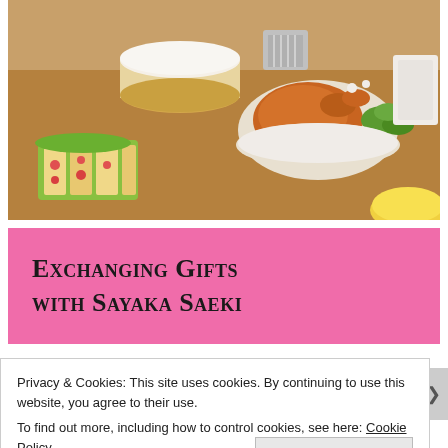[Figure (illustration): Anime-style illustration of a food table spread with a white cream cake, roasted chicken with garnish, sandwich/sushi rolls with lettuce, and other dishes on a brown table.]
Exchanging Gifts with Sayaka Saeki
Privacy & Cookies: This site uses cookies. By continuing to use this website, you agree to their use.
To find out more, including how to control cookies, see here: Cookie Policy
Close and accept